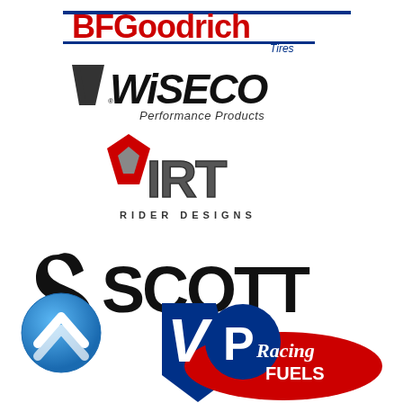[Figure (logo): BF Goodrich Tires logo - red and blue text with horizontal lines]
[Figure (logo): Wiseco Performance Products logo - black italic text with W mark]
[Figure (logo): IRT Rider Designs logo - red diamond flame shape with IRT text and RIDER DESIGNS below]
[Figure (logo): Scott logo - large black stylized S mark with SCOTT text]
[Figure (logo): Blue circle with upward chevron arrow icon]
[Figure (logo): VP Racing Fuels logo - blue V, red P oval with Racing Fuels script text]